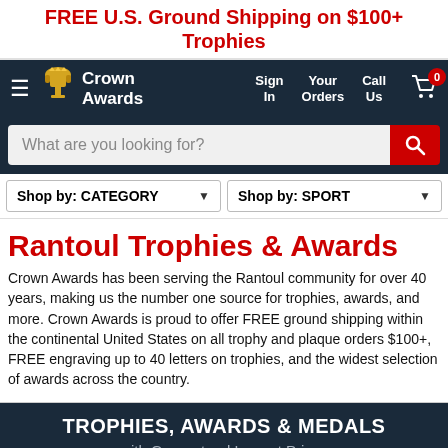FREE U.S. Ground Shipping on $100+ Trophies
[Figure (screenshot): Crown Awards navigation bar with logo, hamburger menu, Sign In, Your Orders, Call Us, and cart icon with 0 badge]
[Figure (screenshot): Search bar with placeholder 'What are you looking for?' and red search button]
[Figure (screenshot): Two dropdown filters: Shop by: CATEGORY and Shop by: SPORT]
Rantoul Trophies & Awards
Crown Awards has been serving the Rantoul community for over 40 years, making us the number one source for trophies, awards, and more. Crown Awards is proud to offer FREE ground shipping within the continental United States on all trophy and plaque orders $100+, FREE engraving up to 40 letters on trophies, and the widest selection of awards across the country.
TROPHIES, AWARDS & MEDALS with Guaranteed Lowest Prices